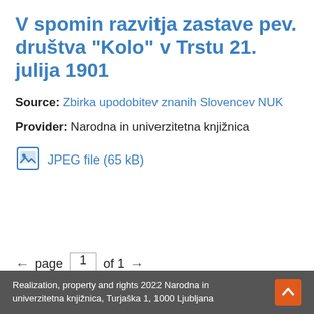V spomin razvitja zastave pev. društva "Kolo" v Trstu 21. julija 1901
Source: Zbirka upodobitev znanih Slovencev NUK
Provider: Narodna in univerzitetna knjižnica
JPEG file (65 kB)
← page 1 of 1 →
hits per page: 5  10  25  50  100
Realization, property and rights 2022 Narodna in univerzitetna knjižnica, Turjaška 1, 1000 Ljubljana